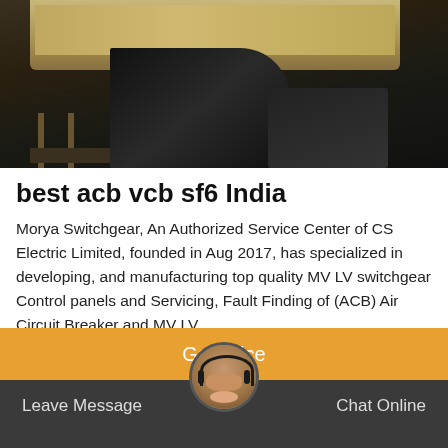[Figure (photo): Dark industrial/warehouse interior photograph showing equipment and storage items in low light]
best acb vcb sf6 India
Morya Switchgear, An Authorized Service Center of CS Electric Limited, founded in Aug 2017, has specialized in developing, and manufacturing top quality MV LV switchgear Control panels and Servicing, Fault Finding of (ACB) Air Circuit Breaker and MV LV
Get Price
Leave Message    Chat Online